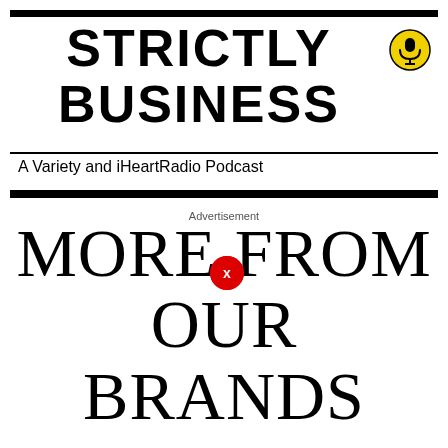STRICTLY BUSINESS
A Variety and iHeartRadio Podcast
MORE FROM OUR BRANDS
Advertisement